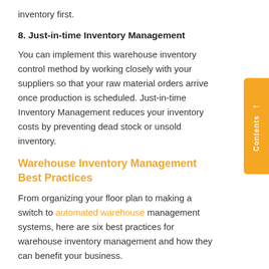inventory first.
8. Just-in-time Inventory Management
You can implement this warehouse inventory control method by working closely with your suppliers so that your raw material orders arrive once production is scheduled. Just-in-time Inventory Management reduces your inventory costs by preventing dead stock or unsold inventory.
Warehouse Inventory Management Best Practices
From organizing your floor plan to making a switch to automated warehouse management systems, here are six best practices for warehouse inventory management and how they can benefit your business.
1. Minimize Manual Input